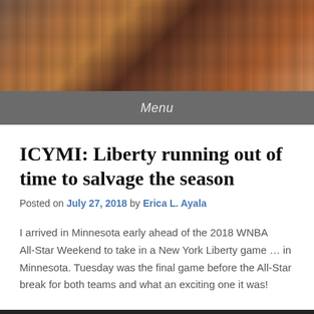[Figure (photo): Header photo showing urban buildings with brick facades in warm tones]
Menu
ICYMI: Liberty running out of time to salvage the season
Posted on July 27, 2018 by Erica L. Ayala
I arrived in Minnesota early ahead of the 2018 WNBA All-Star Weekend to take in a New York Liberty game … in Minnesota. Tuesday was the final game before the All-Star break for both teams and what an exciting one it was!